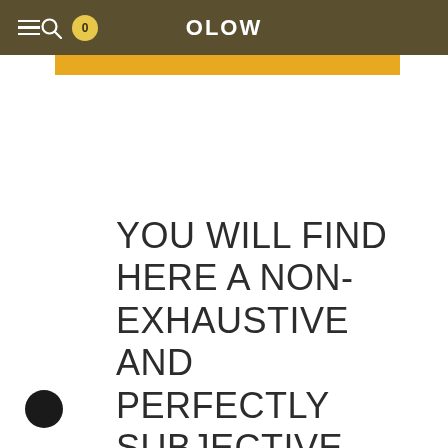OLOW
[Figure (other): Gold/amber colored horizontal bar below header]
YOU WILL FIND HERE A NON-EXHAUSTIVE AND PERFECTLY SUBJECTIVE SELECTION